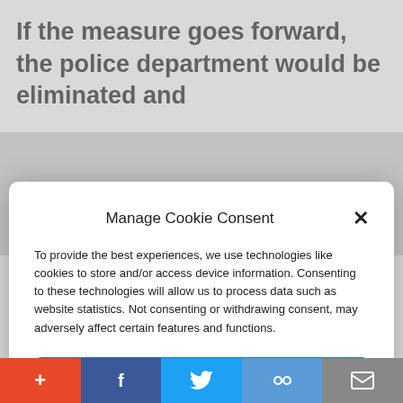If the measure goes forward, the police department would be eliminated and
Manage Cookie Consent
To provide the best experiences, we use technologies like cookies to store and/or access device information. Consenting to these technologies will allow us to process data such as website statistics. Not consenting or withdrawing consent, may adversely affect certain features and functions.
Accept
Cookie Policy   Privacy Policy
restorative justice approaches.” The
+ f Twitter link mail